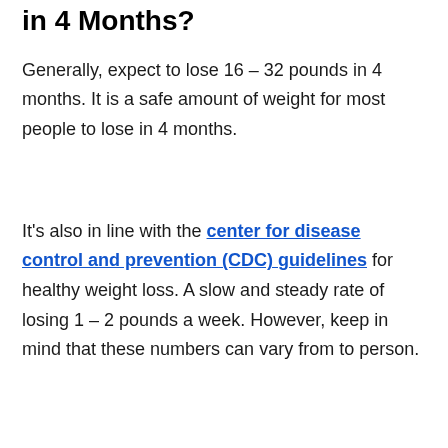in 4 Months?
Generally, expect to lose 16 – 32 pounds in 4 months. It is a safe amount of weight for most people to lose in 4 months.
It's also in line with the center for disease control and prevention (CDC) guidelines for healthy weight loss. A slow and steady rate of losing 1 – 2 pounds a week. However, keep in mind that these numbers can vary from to person.